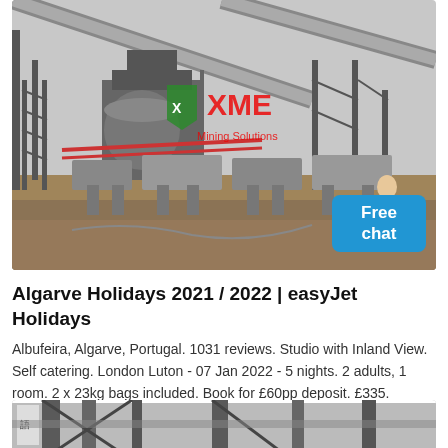[Figure (photo): Industrial mining equipment facility with conveyor belts, steel structures, and machinery on a construction site, with XME Mining Solutions logo/watermark overlaid in green and red.]
Algarve Holidays 2021 / 2022 | easyJet Holidays
Albufeira, Algarve, Portugal. 1031 reviews. Studio with Inland View. Self catering. London Luton - 07 Jan 2022 - 5 nights. 2 adults, 1 room. 2 x 23kg bags included. Book for £60pp deposit. £335.
READ MORE
[Figure (photo): Partial view of industrial/mining structure with steel beams and vertical columns, partially cropped at bottom of page.]